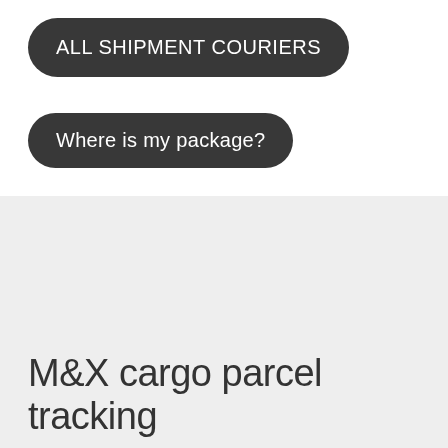ALL SHIPMENT COURIERS
Where is my package?
M&X cargo parcel tracking